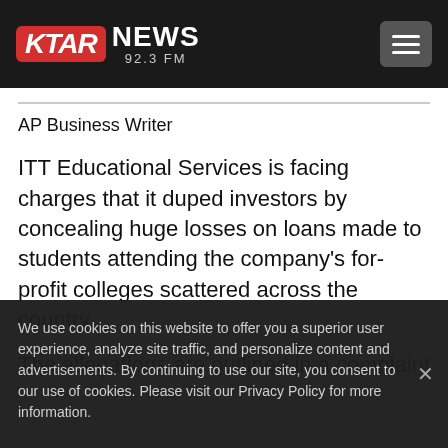KTAR NEWS 92.3 FM
AP Business Writer
ITT Educational Services is facing charges that it duped investors by concealing huge losses on loans made to students attending the company's for-profit colleges scattered across the country.
The allegations are outlined in a complaint...
We use cookies on this website to offer you a superior user experience, analyze site traffic, and personalize content and advertisements. By continuing to use our site, you consent to our use of cookies. Please visit our Privacy Policy for more information.